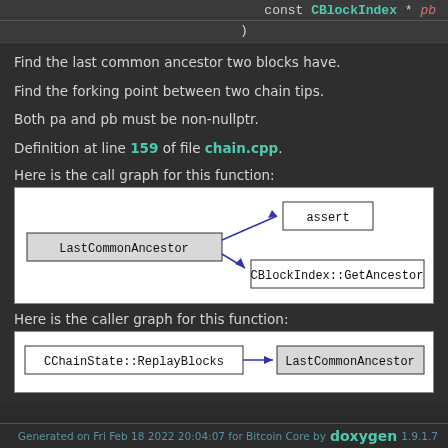const CBlockIndex * pb
)
Find the last common ancestor two blocks have.
Find the forking point between two chain tips.
Both pa and pb must be non-nullptr.
Definition at line 159 of file chain.cpp.
Here is the call graph for this function:
[Figure (flowchart): Call graph showing LastCommonAncestor calling assert and CBlockIndex::GetAncestor]
Here is the caller graph for this function:
[Figure (flowchart): Caller graph showing CChainState::ReplayBlocks calling LastCommonAncestor]
Generated on Fri Feb 18 2022 20:04:07 for Bitcoin Core by doxygen 1.9.1.7